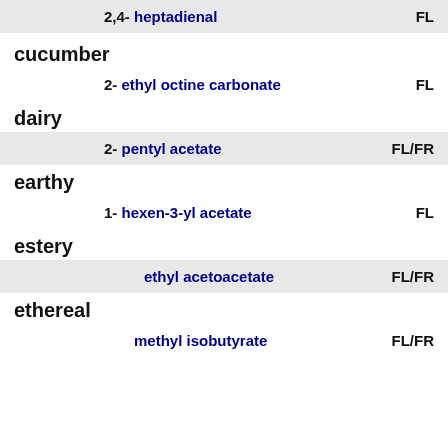2,4- heptadienal   FL
cucumber
2- ethyl octine carbonate   FL
dairy
2- pentyl acetate   FL/FR
earthy
1- hexen-3-yl acetate   FL
estery
ethyl acetoacetate   FL/FR
ethereal
methyl isobutyrate   FL/FR